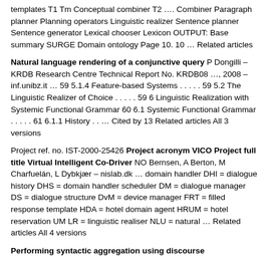templates T1 Tm Conceptual combiner T2 …. Combiner Paragraph planner Planning operators Linguistic realizer Sentence planner Sentence generator Lexical chooser Lexicon OUTPUT: Base summary SURGE Domain ontology Page 10. 10 … Related articles
Natural language rendering of a conjunctive query P Dongilli – KRDB Research Centre Technical Report No. KRDB08 …, 2008 – inf.unibz.it … 59 5.1.4 Feature-based Systems . . . . . 59 5.2 The Linguistic Realizer of Choice . . . . . 59 6 Linguistic Realization with Systemic Functional Grammar 60 6.1 Systemic Functional Grammar . . . . . 61 6.1.1 History . . … Cited by 13 Related articles All 3 versions
Project ref. no. IST-2000-25426 Project acronym VICO Project full title Virtual Intelligent Co-Driver NO Bernsen, A Berton, M Charfuelán, L Dybkjær – nislab.dk … domain handler DHI = dialogue history DHS = domain handler scheduler DM = dialogue manager DS = dialogue structure DvM = device manager FRT = filled response template HDA = hotel domain agent HRUM = hotel reservation UM LR = linguistic realiser NLU = natural … Related articles All 4 versions
Performing syntactic aggregation using discourse